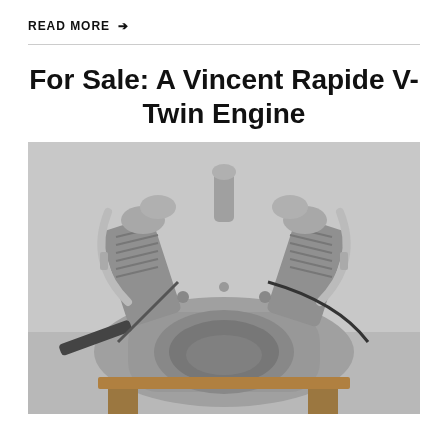READ MORE →
For Sale: A Vincent Rapide V-Twin Engine
[Figure (photo): A Vincent Rapide V-Twin motorcycle engine displayed on a wooden stand, photographed from the front, showing polished aluminum engine cases, cylinders, valve covers, and various engine components.]